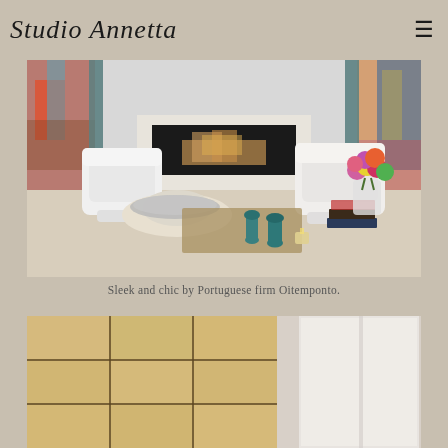Studio Annetta
[Figure (photo): Interior living room photo showing white modern armchairs, a rectangular fireplace with flame, colorful abstract artwork on the walls, a coffee table with silver tray, teal vases, a candle, and a vase of colorful tulips on the right side.]
Sleek and chic by Portuguese firm Oitemponto.
[Figure (photo): Partial view of a room with light wood panel sliding doors or wardrobe doors with dark trim lines, and a white curtained window on the right side.]